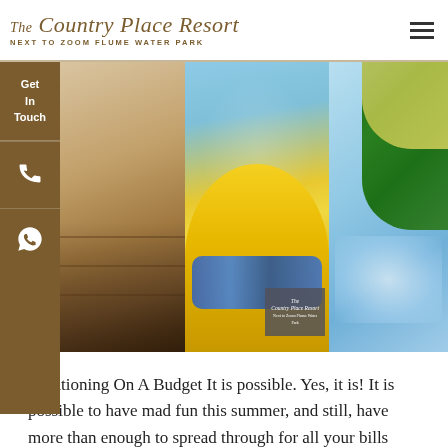The Country Place Resort
NEXT TO ZOOM FLUME WATER PARK
[Figure (photo): Collage of three water park photos: sandy/wooden surface, children on yellow tubes in water park, splash area with green and striped tubes. Overlay logo of The Country Place Resort.]
Vacationing On A Budget It is possible. Yes, it is! It is possible to have mad fun this summer, and still, have more than enough to spread through for all your bills